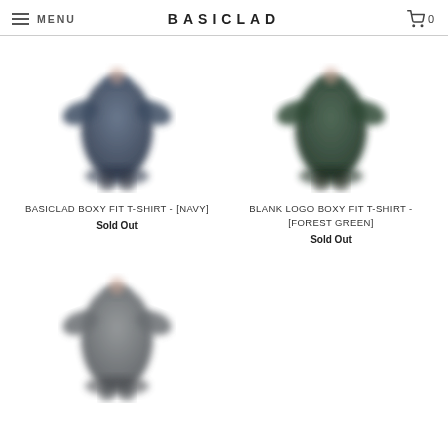MENU  BASICLAD  0
[Figure (photo): Navy blue boxy fit t-shirt, back view, blurred product photo]
BASICLAD BOXY FIT T-SHIRT - [NAVY]
Sold Out
[Figure (photo): Forest green boxy fit t-shirt, back view, blurred product photo]
BLANK LOGO BOXY FIT T-SHIRT - [FOREST GREEN]
Sold Out
[Figure (photo): Gray boxy fit t-shirt, back view, blurred product photo]